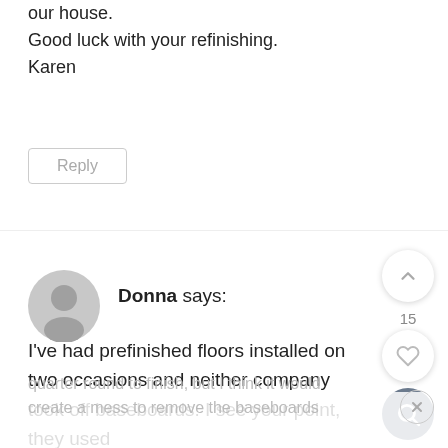our house.
Good luck with your refinishing.
Karen
Reply
Donna says:
I've had prefinished floors installed on two occasions and neither company took off baseboards. I see your point, they used
quarter round to finish, but I think it would create a mess to remove the baseboards